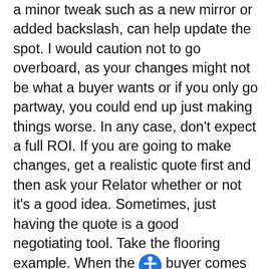a minor tweak such as a new mirror or added backslash, can help update the spot. I would caution not to go overboard, as your changes might not be what a buyer wants or if you only go partway, you could end up just making things worse. In any case, don't expect a full ROI. If you are going to make changes, get a realistic quote first and then ask your Relator whether or not it's a good idea. Sometimes, just having the quote is a good negotiating tool. Take the flooring example. When the buyer comes in and inflates the cost of flooring, you can hand them the quote and negotiate a better deal. What we highly recommend is that before you spend a dime, get the opinion of a professional. I can't tell you how many times I've seen money go out the window on bad choices. A good agent will give you proper guidance and also have vendors to help you get the work done right. If you are thinking of selling in the near future, give us a call. Let's take a look at what is going on and make some